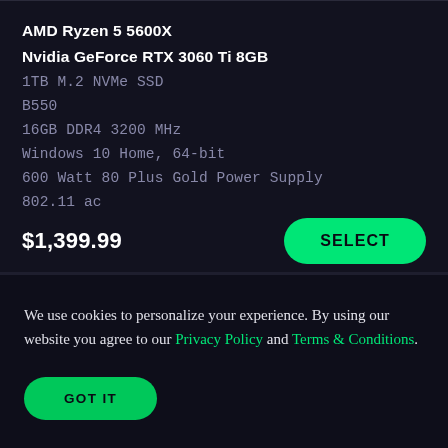AMD Ryzen 5 5600X
Nvidia GeForce RTX 3060 Ti 8GB
1TB M.2 NVMe SSD
B550
16GB DDR4 3200 MHz
Windows 10 Home, 64-bit
600 Watt 80 Plus Gold Power Supply
802.11 ac
$1,399.99
We use cookies to personalize your experience. By using our website you agree to our Privacy Policy and Terms & Conditions.